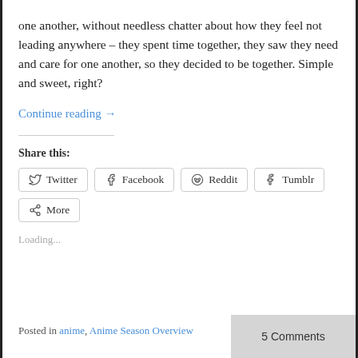one another, without needless chatter about how they feel not leading anywhere – they spent time together, they saw they need and care for one another, so they decided to be together. Simple and sweet, right?
Continue reading →
Share this:
Twitter Facebook Reddit Tumblr More
Loading...
Posted in anime, Anime Season Overview
5 Comments